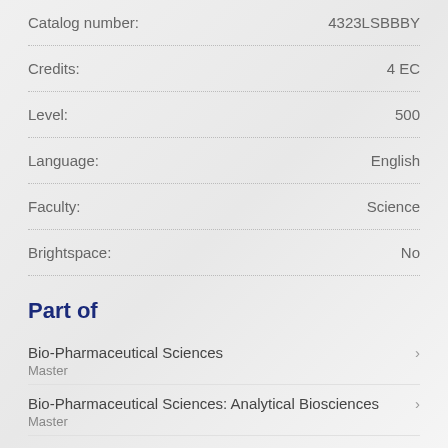| Field | Value |
| --- | --- |
| Catalog number: | 4323LSBBBY |
| Credits: | 4 EC |
| Level: | 500 |
| Language: | English |
| Faculty: | Science |
| Brightspace: | No |
Part of
Bio-Pharmaceutical Sciences
Master
Bio-Pharmaceutical Sciences: Analytical Biosciences
Master